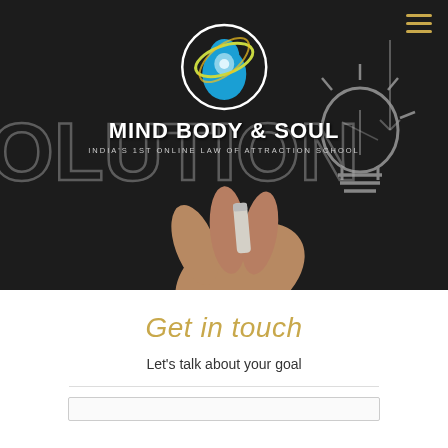[Figure (photo): Dark chalkboard background with chalk-drawn lightbulb and hand holding chalk. Logo of Mind Body & Soul overlaid in center with text.]
MIND BODY & SOUL
INDIA'S 1ST ONLINE LAW OF ATTRACTION SCHOOL
Get in touch
Let's talk about your goal